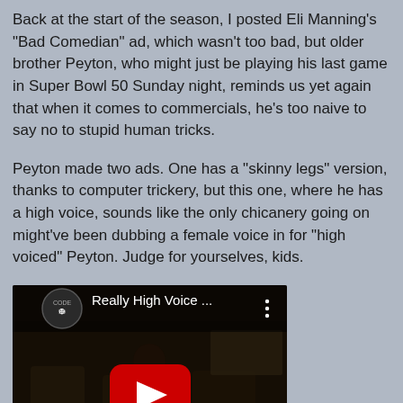Back at the start of the season, I posted Eli Manning's "Bad Comedian" ad, which wasn't too bad, but older brother Peyton, who might just be playing his last game in Super Bowl 50 Sunday night, reminds us yet again that when it comes to commercials, he's too naive to say no to stupid human tricks.
Peyton made two ads. One has a "skinny legs" version, thanks to computer trickery, but this one, where he has a high voice, sounds like the only chicanery going on might've been dubbing a female voice in for "high voiced" Peyton. Judge for yourselves, kids.
[Figure (screenshot): YouTube video embed showing a dark interior bus/vehicle scene with a YouTube play button overlay. Video title reads 'Really High Voice ...' with a channel logo (circular design) in the top left and a three-dot menu icon.]